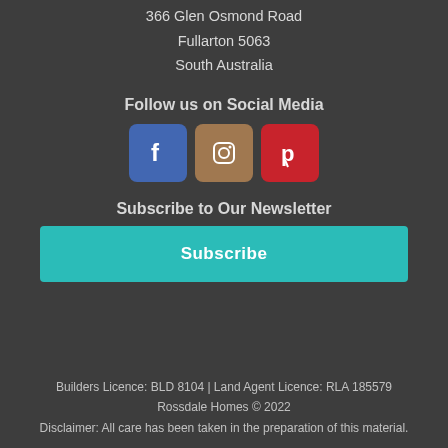366 Glen Osmond Road
Fullarton 5063
South Australia
Follow us on Social Media
[Figure (infographic): Three social media icons: Facebook (blue), Instagram (brown), Pinterest (red)]
Subscribe to Our Newsletter
Subscribe
Builders Licence: BLD 8104 | Land Agent Licence: RLA 185579
Rossdale Homes © 2022
Disclaimer: All care has been taken in the preparation of this material.